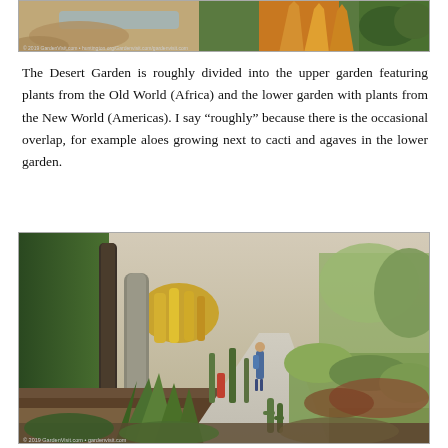[Figure (photo): Top partial photo of desert garden plants including golden/orange spiky plants and green foliage, with a small photo credit watermark at bottom left.]
The Desert Garden is roughly divided into the upper garden featuring plants from the Old World (Africa) and the lower garden with plants from the New World (Americas). I say “roughly” because there is the occasional overlap, for example aloes growing next to cacti and agaves in the lower garden.
[Figure (photo): A wide path through the Desert Garden with a person standing and photographing the lush cacti, agaves, aloes and other desert plants lining both sides of the walkway. Trees visible in background.]